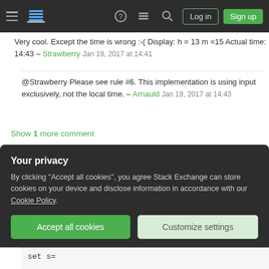Stack Exchange navigation bar with Log in and Sign up buttons
Very cool. Except the time is wrong :-( Display: h = 13 m =15 Actual time: 14:43 – Strawberry Jan 19, 2017 at 14:41
@Strawberry Please see rule #6. This implementation is using input exclusively, not the local time. – Arnauld Jan 19, 2017 at 14:43
Show 1 more comment
Batch, 789 bytes
6
@echo off
Your privacy
By clicking "Accept all cookies", you agree Stack Exchange can store cookies on your device and disclose information in accordance with our Cookie Policy.
Accept all cookies
Customize settings
set s=